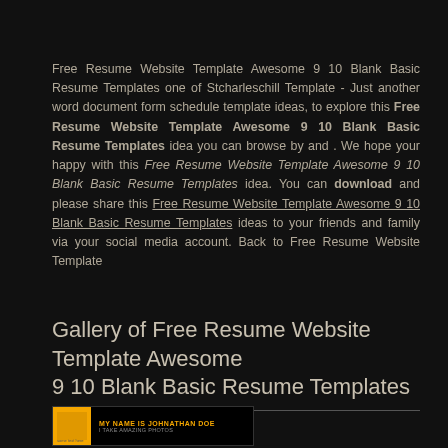Free Resume Website Template Awesome 9 10 Blank Basic Resume Templates one of Stcharleschill Template - Just another word document form schedule template ideas, to explore this Free Resume Website Template Awesome 9 10 Blank Basic Resume Templates idea you can browse by and . We hope your happy with this Free Resume Website Template Awesome 9 10 Blank Basic Resume Templates idea. You can download and please share this Free Resume Website Template Awesome 9 10 Blank Basic Resume Templates ideas to your friends and family via your social media account. Back to Free Resume Website Template
Gallery of Free Resume Website Template Awesome 9 10 Blank Basic Resume Templates
[Figure (screenshot): Small preview image of a resume template with orange/gold branding showing 'MY NAME IS JOHNATHAN DOE' and 'I TAKE AMAZING PHOTOS' text on a dark background]